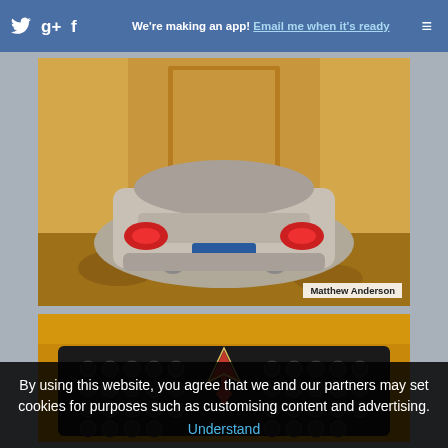We're making an app! Email me when it's ready
[Figure (photo): Rear view of a silver sports car (Pontiac Solstice) parked in a sandy/dusty indoor space. The car has red taillights and a license plate reading OZO863. A watermark reads 'Matthew Anderson'.]
[Figure (photo): Close-up of the front grille and Pontiac arrowhead emblem of a sports car, lit with warm yellow/orange light, showing circular mesh grille pattern.]
By using this website, you agree that we and our partners may set cookies for purposes such as customising content and advertising.
Understand